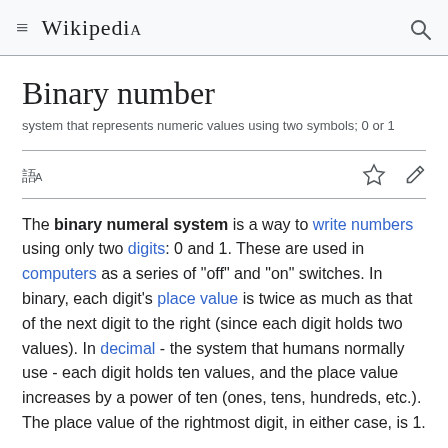Wikipedia
Binary number
system that represents numeric values using two symbols; 0 or 1
The binary numeral system is a way to write numbers using only two digits: 0 and 1. These are used in computers as a series of "off" and "on" switches. In binary, each digit's place value is twice as much as that of the next digit to the right (since each digit holds two values). In decimal - the system that humans normally use - each digit holds ten values, and the place value increases by a power of ten (ones, tens, hundreds, etc.). The place value of the rightmost digit, in either case, is 1.